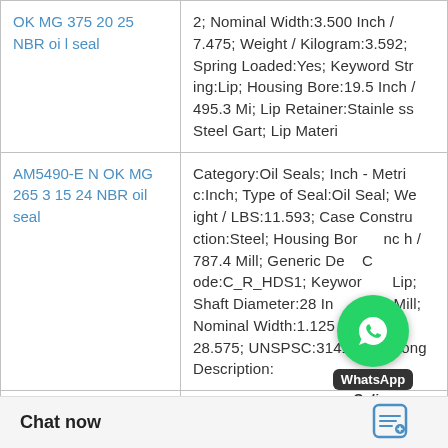| Product | Details |
| --- | --- |
| OK MG 375 20 25 NBR oil seal | 2; Nominal Width:3.500 Inch / 7.475; Weight / Kilogram:3.592; Spring Loaded:Yes; Keyword String:Lip; Housing Bore:19.5 Inch / 495.3 Mi; Lip Retainer:Stainless Steel Gart; Lip Materi |
| AM5490-E N OK MG 265 3 15 24 NBR oil seal | Category:Oil Seals; Inch - Metric:Inch; Type of Seal:Oil Seal; Weight / LBS:11.593; Case Construction:Steel; Housing Bore:31 Inch / 787.4 Mill; Generic Description:C_R_HDS1; Keyword String:Lip; Shaft Diameter:28 Inch / 711.2 Mill; Nominal Width:1.125 Inch / 28.575; UNSPSC:31411705; Long Description: |
| AM6078-A N OK MG 460 5 15 38 NBR oil seal | EAN:85311088305; Weight / Kilogram:1.566; Category:Oil Seals; Manufacturer Name:SKF; Pro D2250; |
[Figure (illustration): WhatsApp Online button overlay with green circle icon, 'WhatsApp', and 'Online' text]
Chat now